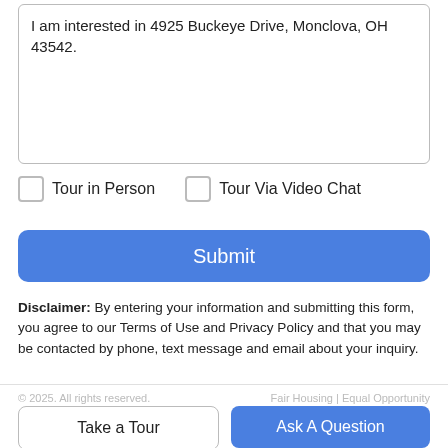I am interested in 4925 Buckeye Drive, Monclova, OH 43542.
Tour in Person
Tour Via Video Chat
Submit
Disclaimer: By entering your information and submitting this form, you agree to our Terms of Use and Privacy Policy and that you may be contacted by phone, text message and email about your inquiry.
Take a Tour
Ask A Question